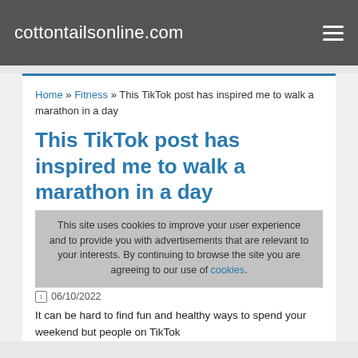cottontailsonline.com
Home » Fitness » This TikTok post has inspired me to walk a marathon in a day
This TikTok post has inspired me to walk a marathon in a day
06/10/2022
This site uses cookies to improve your user experience and to provide you with advertisements that are relevant to your interests. By continuing to browse the site you are agreeing to our use of cookies.
It can be hard to find fun and healthy ways to spend your weekend but people on TikTok